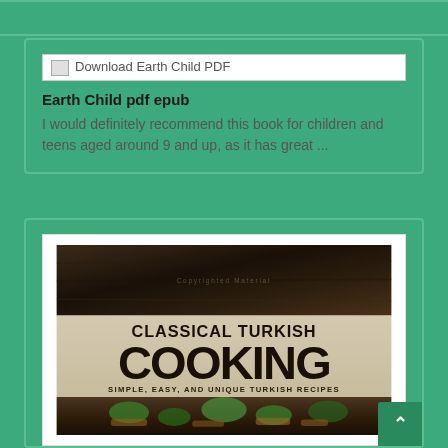[Figure (screenshot): Broken image icon placeholder labeled 'Download Earth Child PDF']
Earth Child pdf epub
I would definitely recommend this book for children and teens aged around 9 and up, as it has great ...
[Figure (photo): Book cover of 'Classical Turkish Cooking: Simple, Easy, and Unique Turkish Recipes' showing dark stone background with food]